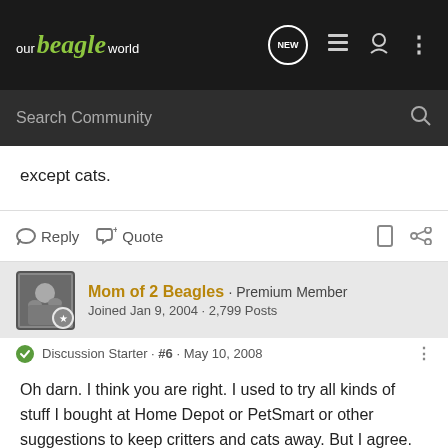our beagle world
except cats.
Reply   Quote
Mom of 2 Beagles · Premium Member
Joined Jan 9, 2004 · 2,799 Posts
Discussion Starter · #6 · May 10, 2008
Oh darn. I think you are right. I used to try all kinds of stuff I bought at Home Depot or PetSmart or other suggestions to keep critters and cats away. But I agree. Cats can go wherever they please. Darned cats.